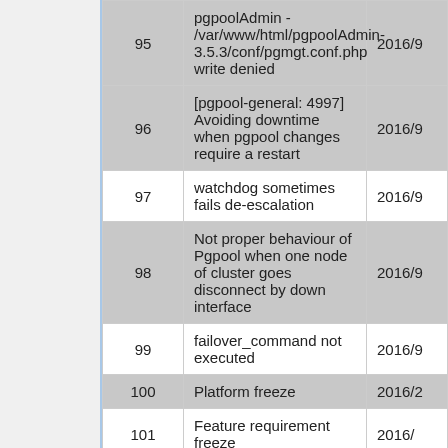| # | Description | Date |
| --- | --- | --- |
| 95 | pgpoolAdmin - /var/www/html/pgpoolAdmin-3.5.3/conf/pgmgt.conf.php write denied | 2016/9 |
| 96 | [pgpool-general: 4997] Avoiding downtime when pgpool changes require a restart | 2016/9 |
| 97 | watchdog sometimes fails de-escalation | 2016/9 |
| 98 | Not proper behaviour of Pgpool when one node of cluster goes disconnect by down interface | 2016/9 |
| 99 | failover_command not executed | 2016/9 |
| 100 | Platform freeze | 2016/2 |
| 101 | Feature requirement freeze | 2016/ |